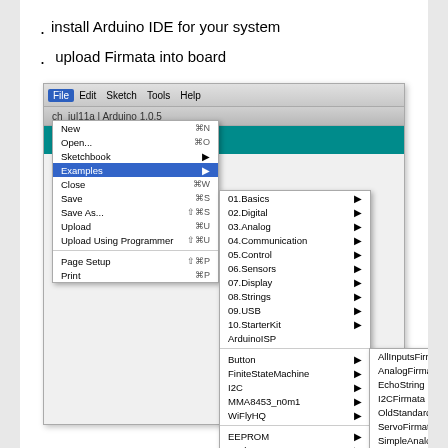. install Arduino IDE for your system
.  upload Firmata into board
[Figure (screenshot): Arduino IDE screenshot showing File menu open, Examples submenu open, Firmata submenu open with StandardFirmata highlighted. Submenu shows: AllInputsFirmata, AnalogFirmata, EchoString, I2CFirmata, OldStandardFirmata, ServoFirmata, SimpleAnalogFirmata, SimpleDigitalFirmata, StandardFirmata (highlighted in blue).]